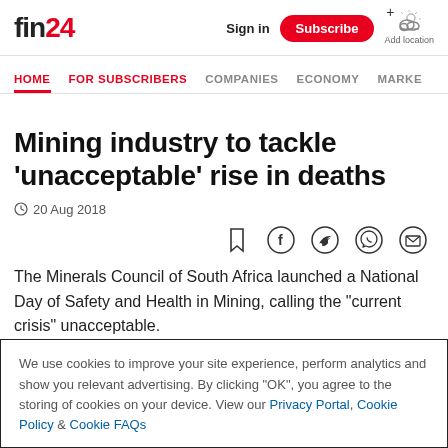fin24
Sign in | Subscribe | Add location
HOME | FOR SUBSCRIBERS | COMPANIES | ECONOMY | MARKE
Mining industry to tackle 'unacceptable' rise in deaths
20 Aug 2018
The Minerals Council of South Africa launched a National Day of Safety and Health in Mining, calling the "current crisis" unacceptable.
We use cookies to improve your site experience, perform analytics and show you relevant advertising. By clicking "OK", you agree to the storing of cookies on your device. View our Privacy Portal, Cookie Policy & Cookie FAQs